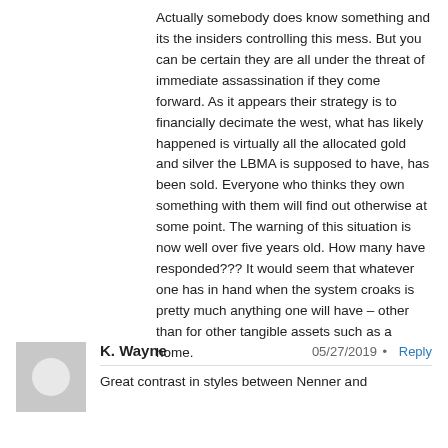Actually somebody does know something and its the insiders controlling this mess. But you can be certain they are all under the threat of immediate assassination if they come forward. As it appears their strategy is to financially decimate the west, what has likely happened is virtually all the allocated gold and silver the LBMA is supposed to have, has been sold. Everyone who thinks they own something with them will find out otherwise at some point. The warning of this situation is now well over five years old. How many have responded??? It would seem that whatever one has in hand when the system croaks is pretty much anything one will have – other than for other tangible assets such as a home.
[Figure (other): User avatar placeholder — grey square with light grey circle]
K. Wayne   05/27/2019 • Reply
Great contrast in styles between Nenner and